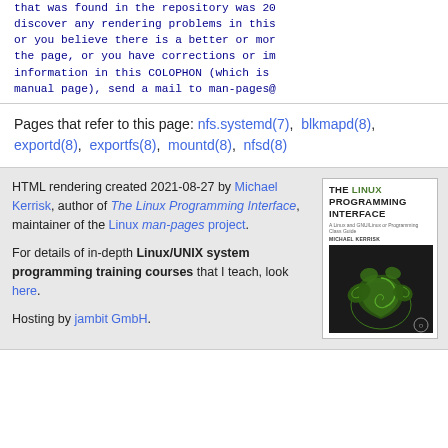that was found in the repository was 20... discover any rendering problems in this... or you believe there is a better or more... the page, or you have corrections or im... information in this COLOPHON (which is... manual page), send a mail to man-pages@
Pages that refer to this page: nfs.systemd(7), blkmapd(8), exportd(8), exportfs(8), mountd(8), nfsd(8)
HTML rendering created 2021-08-27 by Michael Kerrisk, author of The Linux Programming Interface, maintainer of the Linux man-pages project. For details of in-depth Linux/UNIX system programming training courses that I teach, look here. Hosting by jambit GmbH.
[Figure (illustration): Book cover of The Linux Programming Interface by Michael Kerrisk, showing fern fronds on a dark background]